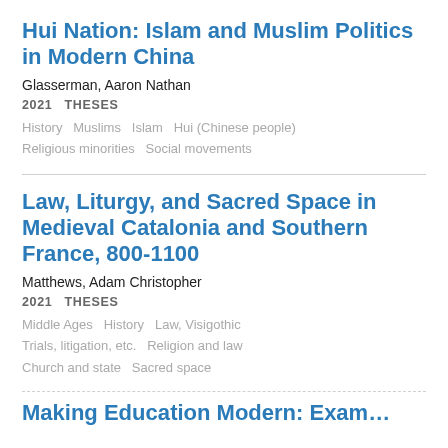Hui Nation: Islam and Muslim Politics in Modern China
Glasserman, Aaron Nathan
2021   THESES
History   Muslims   Islam   Hui (Chinese people)   Religious minorities   Social movements
Law, Liturgy, and Sacred Space in Medieval Catalonia and Southern France, 800-1100
Matthews, Adam Christopher
2021   THESES
Middle Ages   History   Law, Visigothic   Trials, litigation, etc.   Religion and law   Church and state   Sacred space
Making Education Modern: Exam...